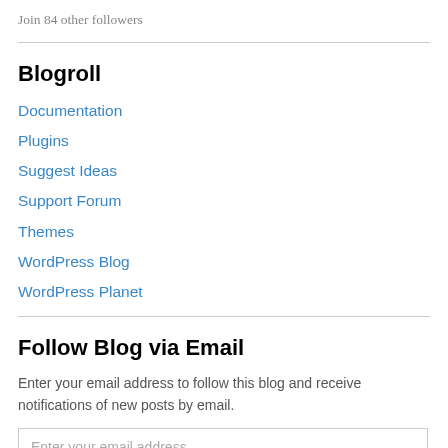Join 84 other followers
Blogroll
Documentation
Plugins
Suggest Ideas
Support Forum
Themes
WordPress Blog
WordPress Planet
Follow Blog via Email
Enter your email address to follow this blog and receive notifications of new posts by email.
Enter your email address